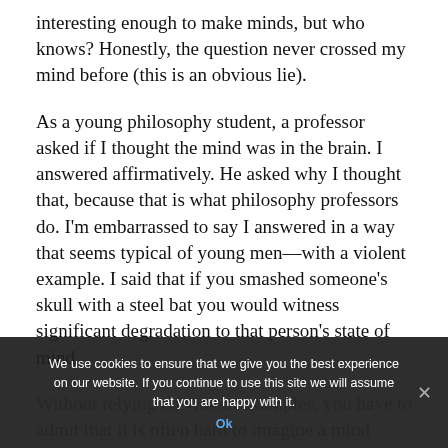interesting enough to make minds, but who knows? Honestly, the question never crossed my mind before (this is an obvious lie).
As a young philosophy student, a professor asked if I thought the mind was in the brain. I answered affirmatively. He asked why I thought that, because that is what philosophy professors do. I'm embarrassed to say I answered in a way that seems typical of young men—with a violent example. I said that if you smashed someone's skull with a steel bat you would witness significant degradation to that person's state of mind.
Without relying on violent examples, you have to admit that it is often hard to imagine a mind capable of pure reason in a person whose brain is seriously damaged. Brains really seem important to this discussion, you know? So
We use cookies to ensure that we give you the best experience on our website. If you continue to use this site we will assume that you are happy with it.